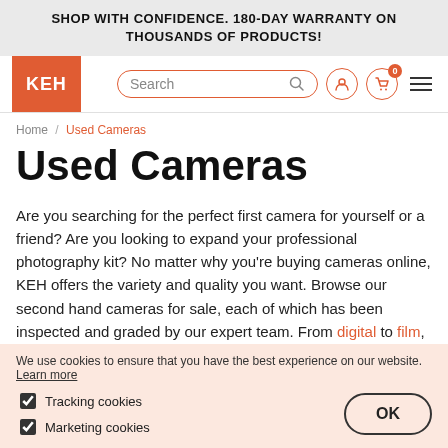SHOP WITH CONFIDENCE. 180-DAY WARRANTY ON THOUSANDS OF PRODUCTS!
[Figure (logo): KEH logo — white text on orange background, navigation bar with search box, user icon, cart icon with badge '0', and hamburger menu]
Home / Used Cameras
Used Cameras
Are you searching for the perfect first camera for yourself or a friend? Are you looking to expand your professional photography kit? No matter why you're buying cameras online, KEH offers the variety and quality you want. Browse our second hand cameras for sale, each of which has been inspected and graded by our expert team. From digital to film, Canon to Nikon, you're sure to find the right camera here.
We use cookies to ensure that you have the best experience on our website. Learn more
Tracking cookies
Marketing cookies